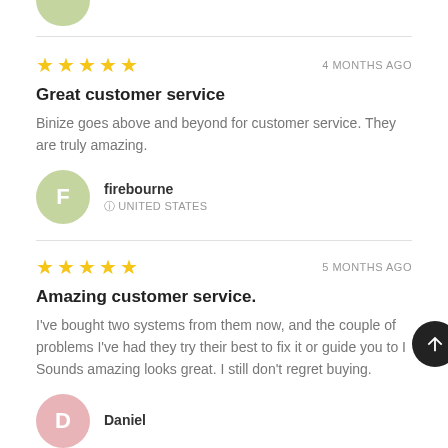[Figure (illustration): Top portion of a circular avatar with green background, partially cropped at top of page]
★★★★★  4 MONTHS AGO
Great customer service
Binize goes above and beyond for customer service. They are truly amazing.
firebourne  UNITED STATES
★★★★★  5 MONTHS AGO
Amazing customer service.
I've bought two systems from them now, and the couple of problems I've had they try their best to fix it or guide you to []. Sounds amazing looks great. I still don't regret buying.
Daniel